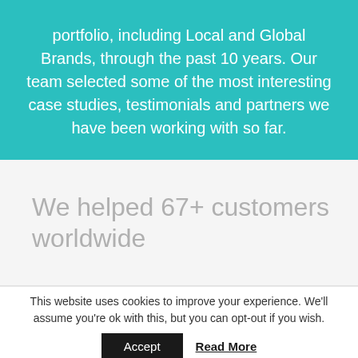portfolio, including Local and Global Brands, through the past 10 years. Our team selected some of the most interesting case studies, testimonials and partners we have been working with so far.
We helped 67+ customers worldwide
This website uses cookies to improve your experience. We'll assume you're ok with this, but you can opt-out if you wish.